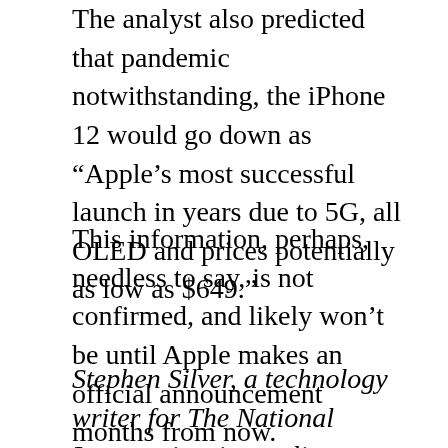The analyst also predicted that pandemic notwithstanding, the iPhone 12 would go down as “Apple’s most successful launch in years due to 5G, all OLED and prices potentially as low as $649.”
This information, perhaps, needless to say, is not confirmed, and likely won’t be until Apple makes an official announcement months from now.
Stephen Silver, a technology writer for The National Interest, is a journalist, essayist and film critic, who is also a contributor to Philly Voice, Philadelphia Weekly, the Jewish Telegraphic Agency, Living Life Fearless,